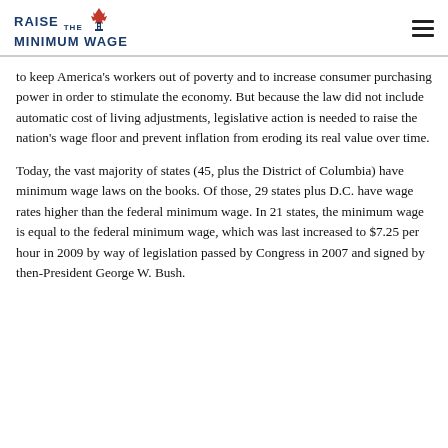RAISE THE MINIMUM WAGE
to keep America's workers out of poverty and to increase consumer purchasing power in order to stimulate the economy. But because the law did not include automatic cost of living adjustments, legislative action is needed to raise the nation's wage floor and prevent inflation from eroding its real value over time.
Today, the vast majority of states (45, plus the District of Columbia) have minimum wage laws on the books. Of those, 29 states plus D.C. have wage rates higher than the federal minimum wage. In 21 states, the minimum wage is equal to the federal minimum wage, which was last increased to $7.25 per hour in 2009 by way of legislation passed by Congress in 2007 and signed by then-President George W. Bush.